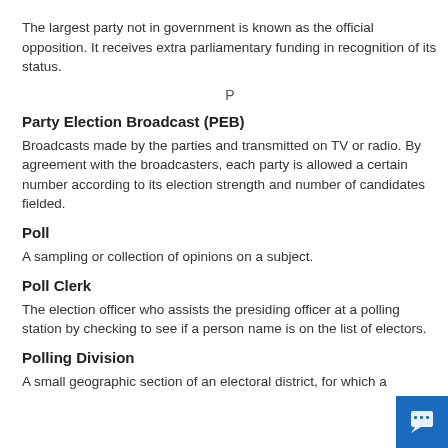The largest party not in government is known as the official opposition. It receives extra parliamentary funding in recognition of its status.
P
Party Election Broadcast (PEB)
Broadcasts made by the parties and transmitted on TV or radio. By agreement with the broadcasters, each party is allowed a certain number according to its election strength and number of candidates fielded.
Poll
A sampling or collection of opinions on a subject.
Poll Clerk
The election officer who assists the presiding officer at a polling station by checking to see if a person name is on the list of electors.
Polling Division
A small geographic section of an electoral district, for which a